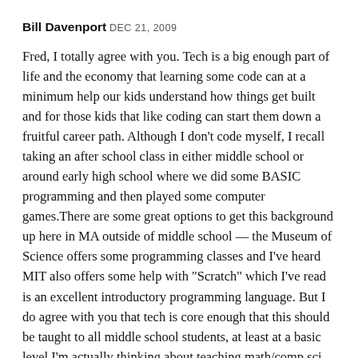Bill Davenport DEC 21, 2009
Fred, I totally agree with you. Tech is a big enough part of life and the economy that learning some code can at a minimum help our kids understand how things get built and for those kids that like coding can start them down a fruitful career path. Although I don’t code myself, I recall taking an after school class in either middle school or around early high school where we did some BASIC programming and then played some computer games.There are some great options to get this background up here in MA outside of middle school — the Museum of Science offers some programming classes and I’ve heard MIT also offers some help with “Scratch” which I’ve read is an excellent introductory programming language. But I do agree with you that tech is core enough that this should be taught to all middle school students, at least at a basic level.I’m actually thinking about teaching math/comp sci down the road. I think I’ve got at least one other startup left